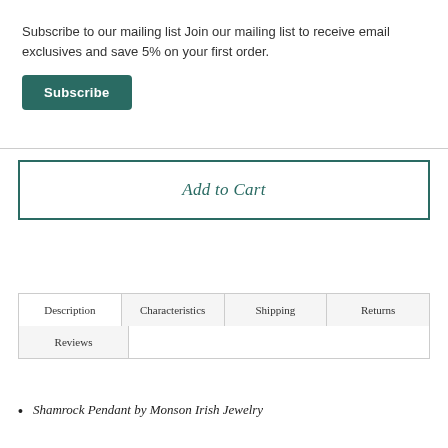Subscribe to our mailing list Join our mailing list to receive email exclusives and save 5% on your first order.
Subscribe
Add to Cart
Description
Characteristics
Shipping
Returns
Reviews
Shamrock Pendant by Monson Irish Jewelry